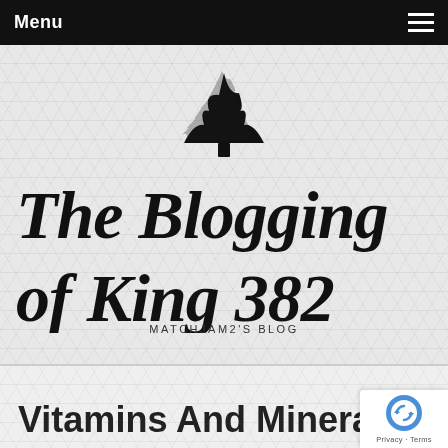Menu
[Figure (logo): The Blogging of King 382 blog logo with a hand-drawn pine tree above hand-drawn cursive/script text reading 'The Blogging of King 382' and subtitle 'MATCHJAM2'S BLOG']
Vitamins And Minerals Ad...